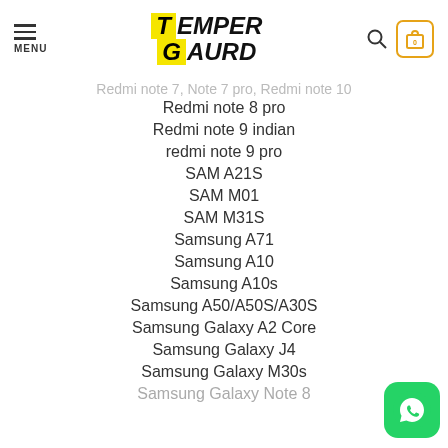MENU | TEMPER GAURD | [search] [cart 0]
Redmi note 7, Note 7 pro, Redmi note 10
Redmi note 8 pro
Redmi note 9 indian
redmi note 9 pro
SAM A21S
SAM M01
SAM M31S
Samsung A71
Samsung A10
Samsung A10s
Samsung A50/A50S/A30S
Samsung Galaxy A2 Core
Samsung Galaxy J4
Samsung Galaxy M30s
Samsung Galaxy Note 8